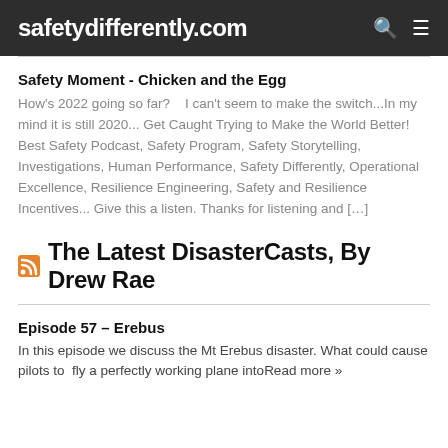safetydifferently.com
Safety Moment - Chicken and the Egg
How's 2022 going so far?   I can't seem to make the switch...In my mind it is still 2020... Get Caught Trying to Make the World Better! Best Safety Podcast, Safety Program, Safety Storytelling, Investigations, Human Performance, Safety Differently, Operational Excellence, Resilience Engineering, Safety and Resilience Incentives... Give this a listen. Thanks for listening and […]
The Latest DisasterCasts, By Drew Rae
Episode 57 – Erebus
In this episode we discuss the Mt Erebus disaster. What could cause pilots to  fly a perfectly working plane intoRead more »